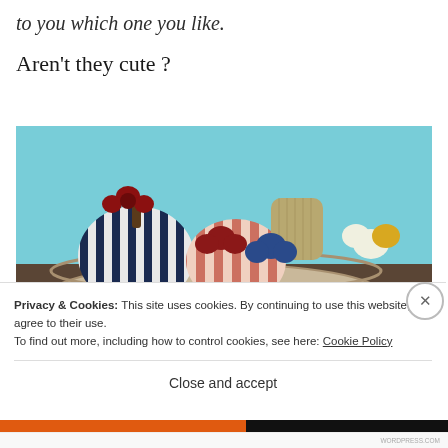to you which one you like.
Aren't they cute ?
[Figure (photo): A wicker basket containing several fabric-covered pumpkins in navy/white stripes and salmon/white stripes, decorated with artificial flowers in red, blue, and yellow, set against a light blue background.]
Privacy & Cookies: This site uses cookies. By continuing to use this website, you agree to their use.
To find out more, including how to control cookies, see here: Cookie Policy
Close and accept